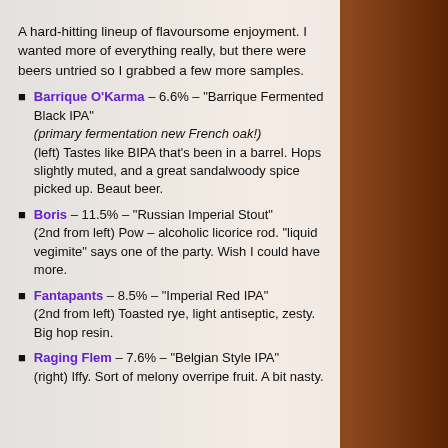A hard-hitting lineup of flavoursome enjoyment. I wanted more of everything really, but there were beers untried so I grabbed a few more samples.
Barrique O'Karma – 6.6% – "Barrique Fermented Black IPA" (primary fermentation new French oak!) (left) Tastes like BIPA that's been in a barrel. Hops slightly muted, and a great sandalwoody spice picked up. Beaut beer.
Boris – 11.5% – "Russian Imperial Stout" (2nd from left) Pow – alcoholic licorice rod. "liquid vegimite" says one of the party. Wish I could have more.
Fantapants – 8.5% – "Imperial Red IPA" (2nd from left) Toasted rye, light antiseptic, zesty. Big hop resin.
Raging Flem – 7.6% – "Belgian Style IPA" (right) Iffy. Sort of melony overripe fruit. A bit nasty.